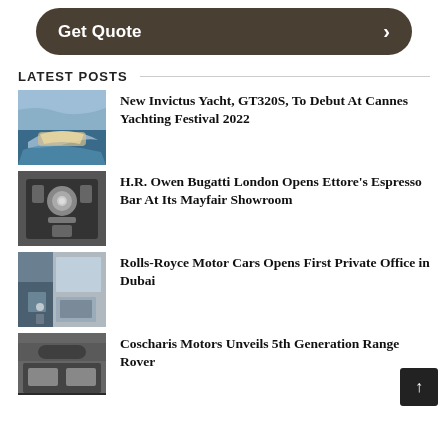[Figure (other): Get Quote button — dark brown rounded rectangle with white bold text 'Get Quote' and a right-pointing chevron arrow]
LATEST POSTS
[Figure (photo): Thumbnail photo of a speedboat/yacht on water]
New Invictus Yacht, GT320S, To Debut At Cannes Yachting Festival 2022
[Figure (photo): Thumbnail photo of an espresso machine]
H.R. Owen Bugatti London Opens Ettore's Espresso Bar At Its Mayfair Showroom
[Figure (photo): Thumbnail photo of a luxury office interior with a person at a desk]
Rolls-Royce Motor Cars Opens First Private Office in Dubai
[Figure (photo): Thumbnail photo of a car showroom interior]
Coscharis Motors Unveils 5th Generation Range Rover